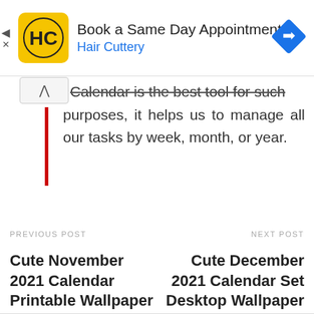[Figure (infographic): Advertisement banner for Hair Cuttery showing yellow HC logo, text 'Book a Same Day Appointment' and 'Hair Cuttery' in blue, with a blue diamond navigation icon on the right. A back/close arrow and X are visible on the left edge.]
Calendar is the best tool for such purposes, it helps us to manage all our tasks by week, month, or year.
PREVIOUS POST
Cute November 2021 Calendar Printable Wallpaper
NEXT POST
Cute December 2021 Calendar Set Desktop Wallpaper